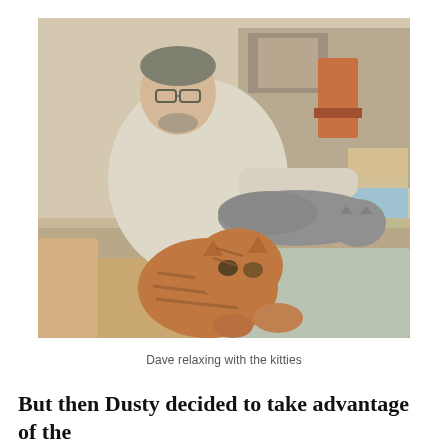[Figure (photo): A man wearing glasses reclines on a sofa with two cats resting on him. A tabby cat is curled up on his lap/stomach area, and a grey cat is stretched across his midsection. The room background shows shelves, boxes, and a wooden chair.]
Dave relaxing with the kitties
But then Dusty decided to take advantage of the